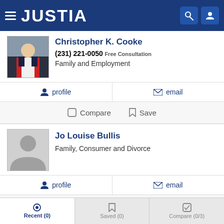JUSTIA
Christopher K. Cooke
(231) 221-0050 Free Consultation
Family and Employment
profile   email
Compare   Save
Jo Louise Bullis
Family, Consumer and Divorce
profile   email
Compare   Save
Recent (0)   Saved (0)   Compare (0/3)